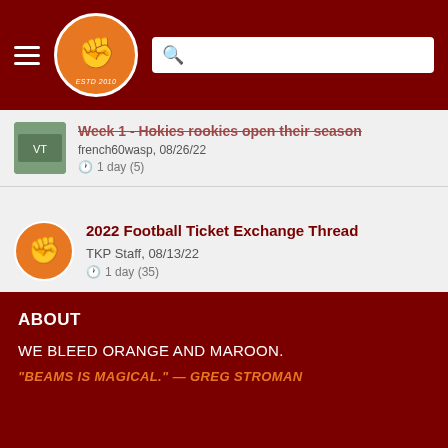The Key Play - header with logo and search bar
Week 1 - Hokies rookies open their season
french60wasp, 08/26/22
1 day (5)
2022 Football Ticket Exchange Thread
TKP Staff, 08/13/22
1 day (35)
View All Discussions »
French on the Bench »
ABOUT
WE BLEED ORANGE AND MAROON.
"BEAMS IS MAGICAL." — GREG STROMAN